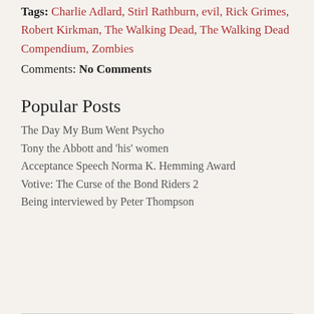Tags: Charlie Adlard, Stirl Rathburn, evil, Rick Grimes, Robert Kirkman, The Walking Dead, The Walking Dead Compendium, Zombies
Comments: No Comments
Popular Posts
The Day My Bum Went Psycho
Tony the Abbott and 'his' women
Acceptance Speech Norma K. Hemming Award
Votive: The Curse of the Bond Riders 2
Being interviewed by Peter Thompson